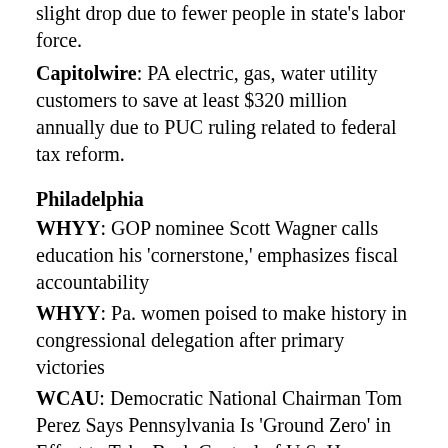slight drop due to fewer people in state's labor force.
Capitolwire: PA electric, gas, water utility customers to save at least $320 million annually due to PUC ruling related to federal tax reform.
Philadelphia
WHYY: GOP nominee Scott Wagner calls education his 'cornerstone,' emphasizes fiscal accountability
WHYY: Pa. women poised to make history in congressional delegation after primary victories
WCAU: Democratic National Chairman Tom Perez Says Pennsylvania Is 'Ground Zero' in Effort to Take Back Control of U.S. House
WPVI: Breaking down the Pa. Primary: winners...